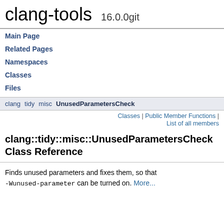clang-tools  16.0.0git
Main Page
Related Pages
Namespaces
Classes
Files
clang  tidy  misc  UnusedParametersCheck
Classes | Public Member Functions | List of all members
clang::tidy::misc::UnusedParametersCheck Class Reference
Finds unused parameters and fixes them, so that -Wunused-parameter can be turned on. More...